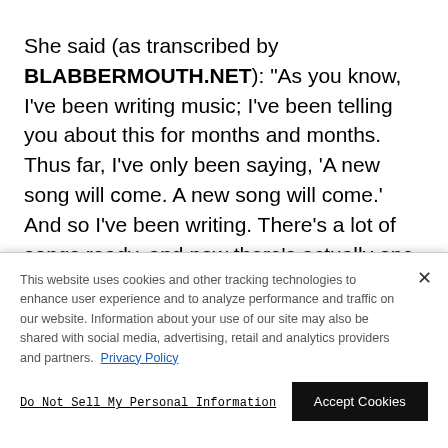She said (as transcribed by BLABBERMOUTH.NET): "As you know, I've been writing music; I've been telling you about this for months and months. Thus far, I've only been saying, 'A new song will come. A new song will come.' And so I've been writing. There's a lot of songs ready, and now there's actually one song ready to be released. And so the thing I can tell
This website uses cookies and other tracking technologies to enhance user experience and to analyze performance and traffic on our website. Information about your use of our site may also be shared with social media, advertising, retail and analytics providers and partners. Privacy Policy
Do Not Sell My Personal Information
Accept Cookies